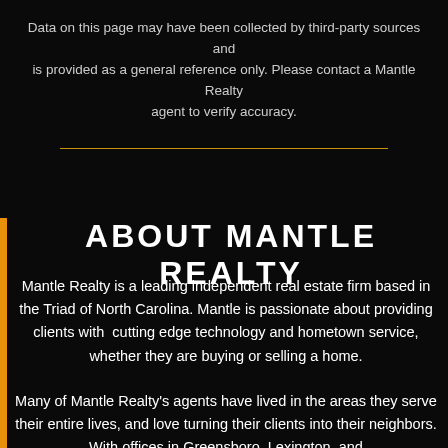Data on this page may have been collected by third-party sources and is provided as a general reference only. Please contact a Mantle Realty agent to verify accuracy.
ABOUT MANTLE REALTY
Mantle Realty is a leading independent real estate firm based in the Triad of North Carolina. Mantle is passionate about providing clients with  cutting edge technology and hometown service, whether they are buying or selling a home.
Many of Mantle Realty's agents have lived in the areas they serve their entire lives, and love turning their clients into their neighbors. With offices in Greensboro, Lexington, and